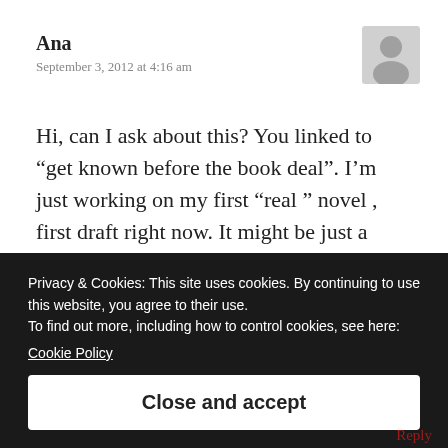Ana
September 3, 2012 at 4:16 am
[Figure (illustration): Gray avatar/profile placeholder icon]
Hi, can I ask about this? You linked to “get known before the book deal”. I’m just working on my first “real ” novel , first draft right now. It might be just a shelfer obviously (my first) , I’m in my 30’s. I don’t have finances for things that require technology beyond a laptop , so i don’t do twitter or anything
Privacy & Cookies: This site uses cookies. By continuing to use this website, you agree to their use.
To find out more, including how to control cookies, see here:
Cookie Policy
Close and accept
Reply